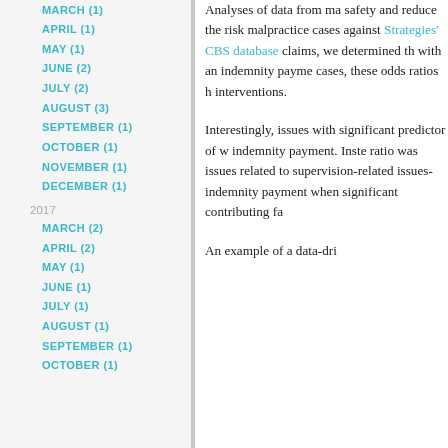MARCH (1)
APRIL (1)
MAY (1)
JUNE (2)
JULY (2)
AUGUST (3)
SEPTEMBER (1)
OCTOBER (1)
NOVEMBER (1)
DECEMBER (1)
2017
MARCH (2)
APRIL (2)
MAY (1)
JUNE (1)
JULY (1)
AUGUST (1)
SEPTEMBER (1)
OCTOBER (1)
Analyses of data from ma... safety and reduce the risk... malpractice cases against... Strategies' CBS database... claims, we determined th... with an indemnity payme... cases, these odds ratios h... interventions.
Interestingly, issues with... significant predictor of w... indemnity payment. Inste... ratio was issues related to... supervision-related issues... indemnity payment when... significant contributing fa...
An example of a data-dri...